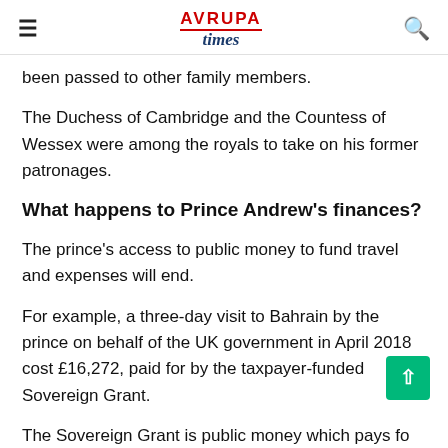AVRUPA times
been passed to other family members.
The Duchess of Cambridge and the Countess of Wessex were among the royals to take on his former patronages.
What happens to Prince Andrew's finances?
The prince's access to public money to fund travel and expenses will end.
For example, a three-day visit to Bahrain by the prince on behalf of the UK government in April 2018 cost £16,272, paid for by the taxpayer-funded Sovereign Grant.
The Sovereign Grant is public money which pays fo the costs of official royal duties and the upkeep of the